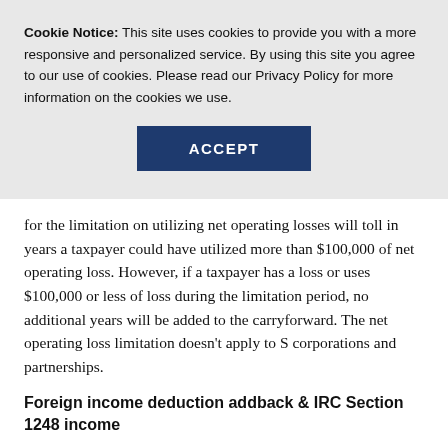Cookie Notice: This site uses cookies to provide you with a more responsive and personalized service. By using this site you agree to our use of cookies. Please read our Privacy Policy for more information on the cookies we use.
[Figure (other): ACCEPT button — a dark navy blue rectangular button with white bold uppercase text reading ACCEPT]
for the limitation on utilizing net operating losses will toll in years a taxpayer could have utilized more than $100,000 of net operating loss. However, if a taxpayer has a loss or uses $100,000 or less of loss during the limitation period, no additional years will be added to the carryforward. The net operating loss limitation doesn't apply to S corporations and partnerships.
Foreign income deduction addback & IRC Section 1248 income
The bill contains several qualifications related to foreign i